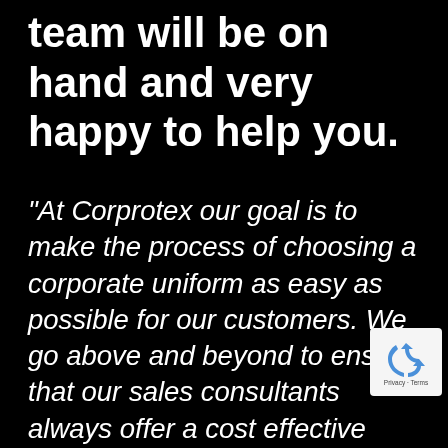team will be on hand and very happy to help you.
“At Corprotex our goal is to make the process of choosing a corporate uniform as easy as possible for our customers.  We go above and beyond to ensure that our sales consultants always offer a cost effective and commercially viable solution for our clients whilst at all times maintaining excellent quality in the products they we recommend.  We do what is right
[Figure (logo): reCAPTCHA badge with recycling arrows logo icon and 'Privacy - Terms' text]